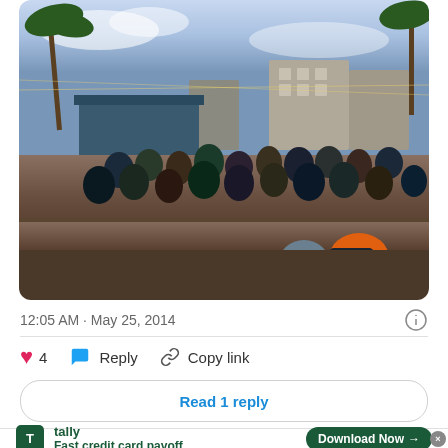[Figure (photo): Outdoor bar/restaurant event at dusk with a large crowd of people sitting at wooden tables on a sandy area, palm trees visible, string lights overhead, buildings in background, taken at an angle over a wooden railing]
12:05 AM · May 25, 2014
4   Reply   Copy link
Read 1 reply
infolinks
tally
Fast credit card payoff
Download Now →